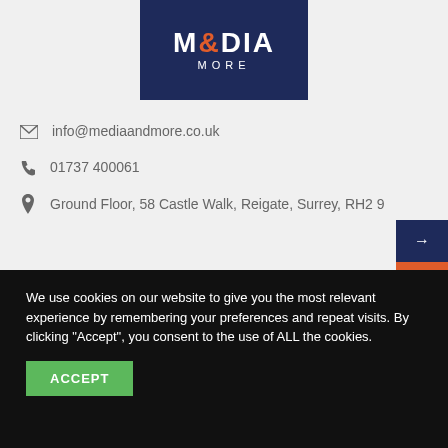[Figure (logo): Media & More logo — dark navy blue background, white bold text 'MEDIA' with orange ampersand '&', and white 'MORE' in spaced capitals below]
info@mediaandmore.co.uk
01737 400061
Ground Floor, 58 Castle Walk, Reigate, Surrey, RH2 9...
We use cookies on our website to give you the most relevant experience by remembering your preferences and repeat visits. By clicking “Accept”, you consent to the use of ALL the cookies.
ACCEPT